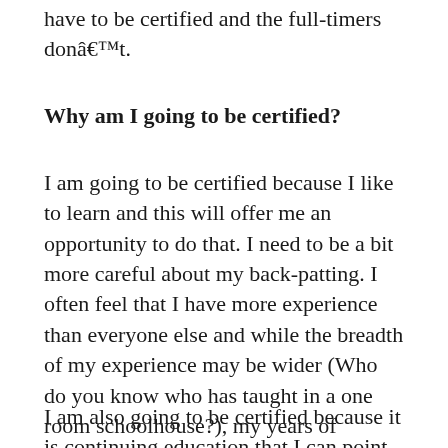have to be certified and the full-timers donâ€™t.
Why am I going to be certified?
I am going to be certified because I like to learn and this will offer me an opportunity to do that. I need to be a bit more careful about my back-patting. I often feel that I have more experience than everyone else and while the breadth of my experience may be wider (Who do you know who has taught in a one room schoolhouse?), my years of experience are often similar to others.
I am also going to be certified because it is continuing education that I can point to and